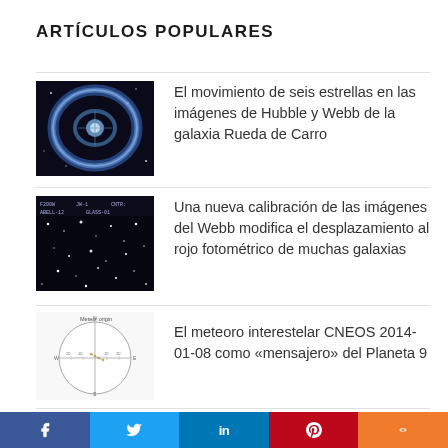ARTÍCULOS POPULARES
[Figure (photo): Hubble/Webb image of the Cartwheel Galaxy, ring-shaped galaxy in blue tones]
El movimiento de seis estrellas en las imágenes de Hubble y Webb de la galaxia Rueda de Carro
[Figure (photo): Webb telescope image of a star field with many point sources on dark background]
Una nueva calibración de las imágenes del Webb modifica el desplazamiento al rojo fotométrico de muchas galaxias
[Figure (other): Circular sky chart/diagram labeled 'Meteor origin' with dot pattern and axes]
El meteoro interestelar CNEOS 2014-01-08 como «mensajero» del Planeta 9
[Figure (screenshot): Screenshot of a tweet with dark background, partially visible]
El «ChorizoGate», el meme inspirado en el